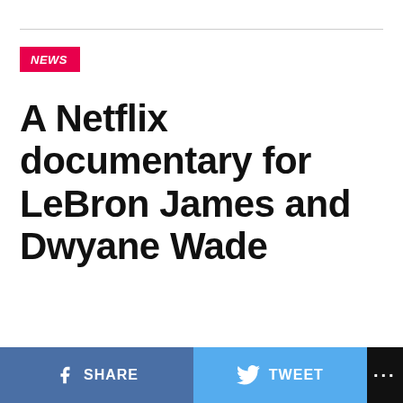NEWS
A Netflix documentary for LeBron James and Dwyane Wade
SHARE   TWEET   ...